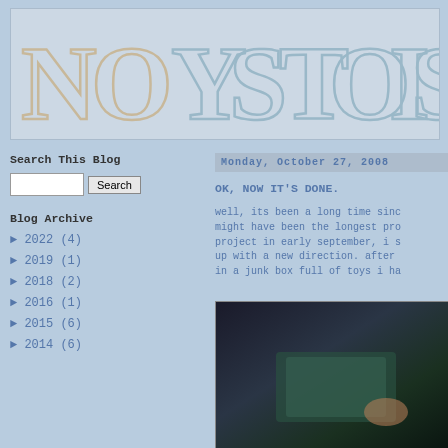[Figure (illustration): Blog header banner with large decorative text reading 'NO YST OISE' (NOYS T OISE / NO NOISE) in outlined letters on a light blue background]
Search This Blog
Blog Archive
► 2022 (4)
► 2019 (1)
► 2018 (2)
► 2016 (1)
► 2015 (6)
► 2014 (6)
Monday, October 27, 2008
OK, NOW IT'S DONE.
well, its been a long time sinc might have been the longest pro project in early september, i s up with a new direction. after in a junk box full of toys i ha
[Figure (photo): Dark photo showing what appears to be a box or container with green/teal material inside]